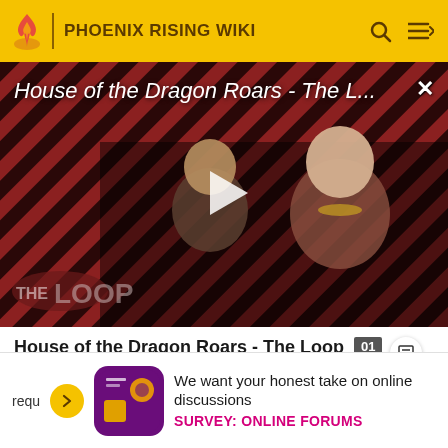PHOENIX RISING WIKI
[Figure (screenshot): Video thumbnail for 'House of the Dragon Roars - The L...' showing two characters in medieval fantasy costumes against a diagonal red and black striped background, with a play button overlay and 'THE LOOP' logo watermark]
House of the Dragon Roars - The Loop
We want your honest take on online discussions
SURVEY: ONLINE FORUMS